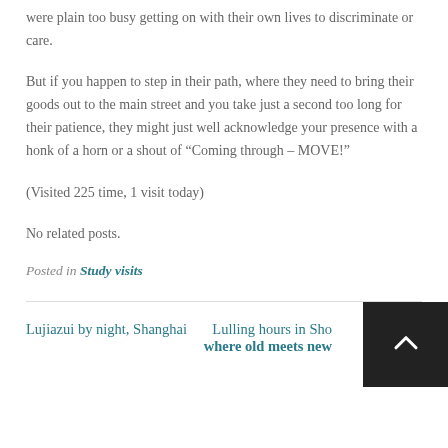were plain too busy getting on with their own lives to discriminate or care.
But if you happen to step in their path, where they need to bring their goods out to the main street and you take just a second too long for their patience, they might just well acknowledge your presence with a honk of a horn or a shout of “Coming through – MOVE!”
(Visited 225 time, 1 visit today)
No related posts.
Posted in Study visits
Lujiazui by night, Shanghai
Lulling hours in Sho… where old meets new